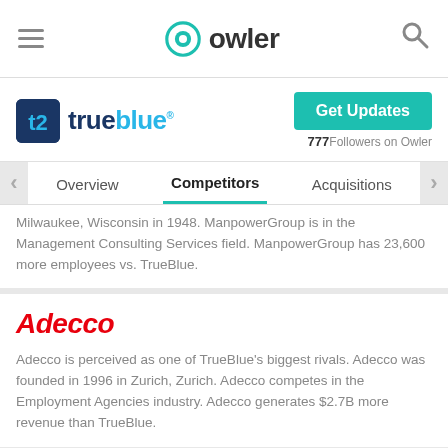Owler
[Figure (logo): TrueBlue company logo with icon and name]
Get Updates  777 Followers on Owler
Overview  Competitors  Acquisitions
Milwaukee, Wisconsin in 1948. ManpowerGroup is in the Management Consulting Services field. ManpowerGroup has 23,600 more employees vs. TrueBlue.
[Figure (logo): Adecco company logo in red italic]
Adecco is perceived as one of TrueBlue's biggest rivals. Adecco was founded in 1996 in Zurich, Zurich. Adecco competes in the Employment Agencies industry. Adecco generates $2.7B more revenue than TrueBlue.
[Figure (logo): Kelly company logo in green italic]